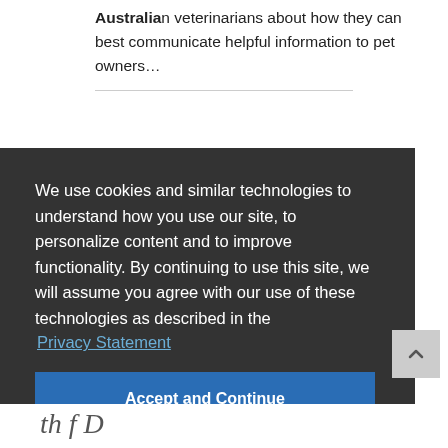Australian veterinarians about how they can best communicate helpful information to pet owners…
We use cookies and similar technologies to understand how you use our site, to personalize content and to improve functionality. By continuing to use this site, we will assume you agree with our use of these technologies as described in the Privacy Statement
Accept and Continue